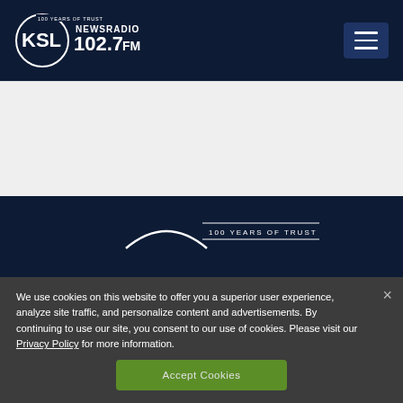[Figure (logo): KSL NewsRadio 102.7 FM logo with '100 Years of Trust' banner in top navigation bar]
[Figure (screenshot): Hamburger menu button (three horizontal lines) in top right of nav bar]
[Figure (logo): KSL 100 Years of Trust logo partially visible in the dark section below the white ad area]
We use cookies on this website to offer you a superior user experience, analyze site traffic, and personalize content and advertisements. By continuing to use our site, you consent to our use of cookies. Please visit our Privacy Policy for more information.
Accept Cookies